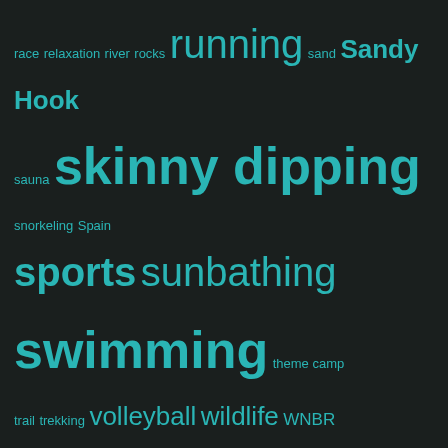[Figure (infographic): Tag cloud with various naturism/outdoor activity tags in teal on dark background. Tags include: race, relaxation, river, rocks, running, sand, Sandy Hook, sauna, skinny dipping, snorkeling, Spain, sports, sunbathing, swimming, theme camp, trail, trekking, volleyball, wildlife, WNBR, woods, World Naked Bike Ride, yoga, натуризм, натурист, нудист]
Top Posts
Free at last!-)
NuDance
Locations for naturist vacations!
Berlin